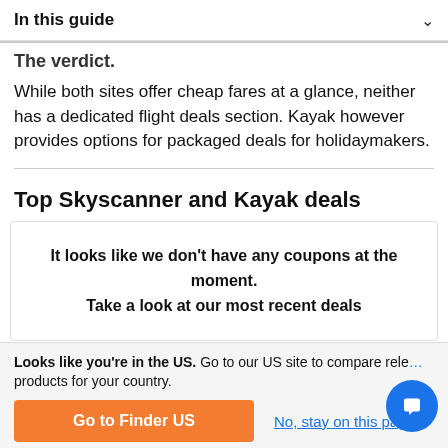In this guide
The verdict.
While both sites offer cheap fares at a glance, neither has a dedicated flight deals section. Kayak however provides options for packaged deals for holidaymakers.
Top Skyscanner and Kayak deals
It looks like we don't have any coupons at the moment. Take a look at our most recent deals
Looks like you're in the US. Go to our US site to compare relevant products for your country.
Go to Finder US
No, stay on this page